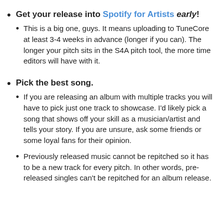Get your release into Spotify for Artists early!
This is a big one, guys. It means uploading to TuneCore at least 3-4 weeks in advance (longer if you can). The longer your pitch sits in the S4A pitch tool, the more time editors will have with it.
Pick the best song.
If you are releasing an album with multiple tracks you will have to pick just one track to showcase. I’d likely pick a song that shows off your skill as a musician/artist and tells your story. If you are unsure, ask some friends or some loyal fans for their opinion.
Previously released music cannot be repitched so it has to be a new track for every pitch. In other words, pre-released singles can’t be repitched for an album release.